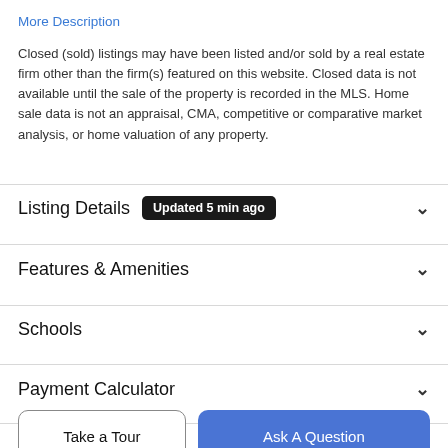More Description
Closed (sold) listings may have been listed and/or sold by a real estate firm other than the firm(s) featured on this website. Closed data is not available until the sale of the property is recorded in the MLS. Home sale data is not an appraisal, CMA, competitive or comparative market analysis, or home valuation of any property.
Listing Details
Features & Amenities
Schools
Payment Calculator
Take a Tour
Ask A Question